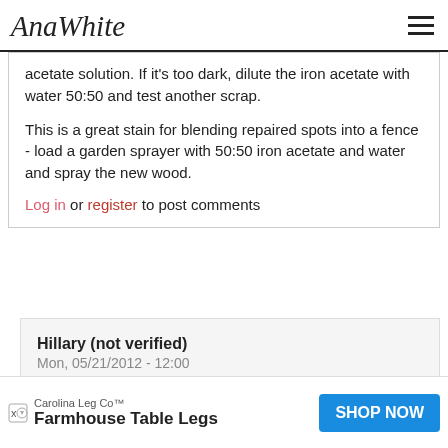AnaWhite [logo] [hamburger menu]
acetate solution. If it's too dark, dilute the iron acetate with water 50:50 and test another scrap.

This is a great stain for blending repaired spots into a fence - load a garden sprayer with 50:50 iron acetate and water and spray the new wood.
Log in or register to post comments
Hillary (not verified)
Mon, 05/21/2012 - 12:00
tea
[Figure (other): Advertisement banner: Carolina Leg Co™ — Farmhouse Table Legs — SHOP NOW button]
Carolina Leg Co™ Farmhouse Table Legs SHOP NOW